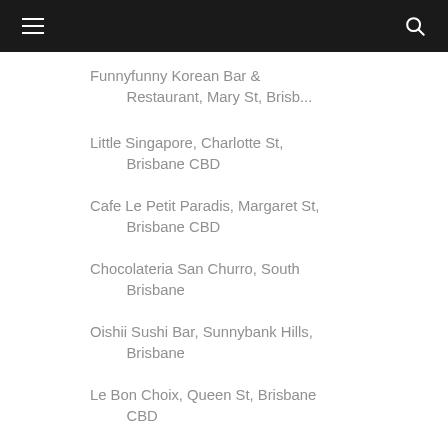Navigation header with hamburger menu and search icon
Funnyfunny Korean Bar & Restaurant, Mary St, Brisb...
Little Singapore, Charlotte St, Brisbane CBD
Cafe Le Petit Paradis, Margaret St, Brisbane CBD
Chocolateria San Churro, South Brisbane
Oishii Sushi Bar, Sunnybank Hills, Brisbane
Le Bon Choix, Queen St, Brisbane CBD